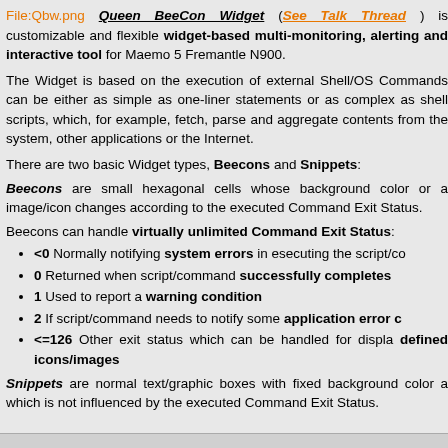File:Qbw.png Queen BeeCon Widget (See Talk Thread) is customizable and flexible widget-based multi-monitoring, alerting and interactive tool for Maemo 5 Fremantle N900.
The Widget is based on the execution of external Shell/OS Commands can be either as simple as one-liner statements or as complex as shell scripts, which, for example, fetch, parse and aggregate contents from the system, other applications or the Internet.
There are two basic Widget types, Beecons and Snippets:
Beecons are small hexagonal cells whose background color or a image/icon changes according to the executed Command Exit Status.
Beecons can handle virtually unlimited Command Exit Status:
<0 Normally notifying system errors in esecuting the script/co
0 Returned when script/command successfully completes
1 Used to report a warning condition
2 If script/command needs to notify some application error c
<=126 Other exit status which can be handled for displa defined icons/images
Snippets are normal text/graphic boxes with fixed background color a which is not influenced by the executed Command Exit Status.